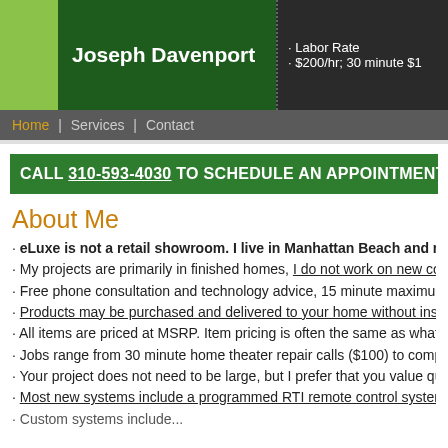Joseph Davenport | Labor Rate · $200/hr; 30 minute $1...
Home | Services | Contact
CALL 310-593-4030 TO SCHEDULE AN APPOINTMENT
About Me
• eLuxe is not a retail showroom. I live in Manhattan Beach and meet at yo...
• My projects are primarily in finished homes, I do not work on new constr...
• Free phone consultation and technology advice, 15 minute maximum.
• Products may be purchased and delivered to your home without install...
• All items are priced at MSRP. Item pricing is often the same as what yo...
• Jobs range from 30 minute home theater repair calls ($100) to complete...
• Your project does not need to be large, but I prefer that you value quali...
• Most new systems include a programmed RTI remote control system &...